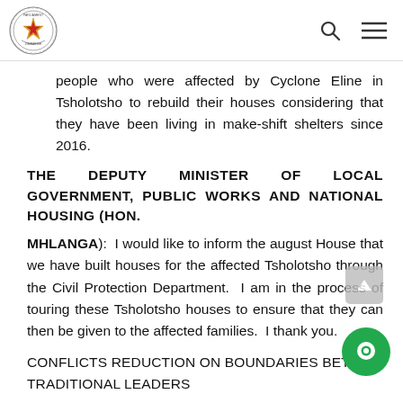Parliament of Zimbabwe logo, search icon, menu icon
people who were affected by Cyclone Eline in Tsholotsho to rebuild their houses considering that they have been living in make-shift shelters since 2016.
THE DEPUTY MINISTER OF LOCAL GOVERNMENT, PUBLIC WORKS AND NATIONAL HOUSING (HON.
MHLANGA):  I would like to inform the august House that we have built houses for the affected Tsholotsho through the Civil Protection Department.  I am in the process of touring these Tsholotsho houses to ensure that they can then be given to the affected families.  I thank you.
CONFLICTS REDUCTION ON BOUNDARIES BETW
TRADITIONAL LEADERS